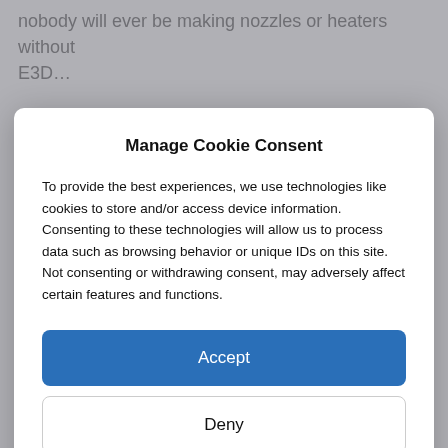nobody will ever be making nozzles or heaters without E3D…
Manage Cookie Consent
To provide the best experiences, we use technologies like cookies to store and/or access device information. Consenting to these technologies will allow us to process data such as browsing behavior or unique IDs on this site. Not consenting or withdrawing consent, may adversely affect certain features and functions.
Accept
Deny
View preferences
Impressum und Datenschutzerklärung
[Figure (photo): 3D printed chocolate decorations / swirls on a grid surface, with a logo visible at the bottom]